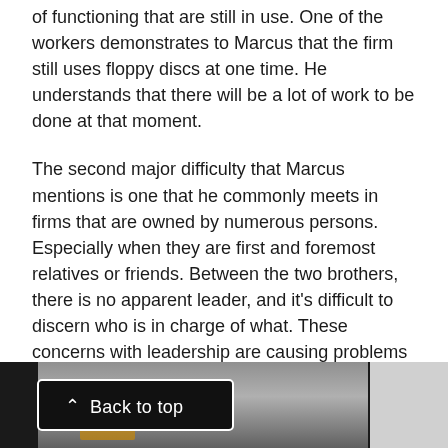of functioning that are still in use. One of the workers demonstrates to Marcus that the firm still uses floppy discs at one time. He understands that there will be a lot of work to be done at that moment.
The second major difficulty that Marcus mentions is one that he commonly meets in firms that are owned by numerous persons. Especially when they are first and foremost relatives or friends. Between the two brothers, there is no apparent leader, and it's difficult to discern who is in charge of what. These concerns with leadership are causing problems for the organization and restricting its potential. Marcus is pleased with the personnel, so it's not all bad news. Keith and Dean have decided to collaborate with individuals he admires.
[Figure (photo): Bottom of page shows a dark background with a 'Back to top' button overlay on the left side and a partial photo of what appears to be an office or lab setting in the center-right.]